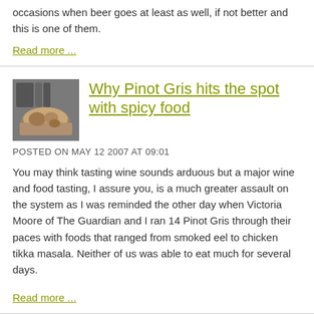occasions when beer goes at least as well, if not better and this is one of them.
Read more ...
Why Pinot Gris hits the spot with spicy food
[Figure (photo): Photo of food dish with drinks in background]
POSTED ON MAY 12 2007 AT 09:01
You may think tasting wine sounds arduous but a major wine and food tasting, I assure you, is a much greater assault on the system as I was reminded the other day when Victoria Moore of The Guardian and I ran 14 Pinot Gris through their paces with foods that ranged from smoked eel to chicken tikka masala. Neither of us was able to eat much for several days.
Read more ...